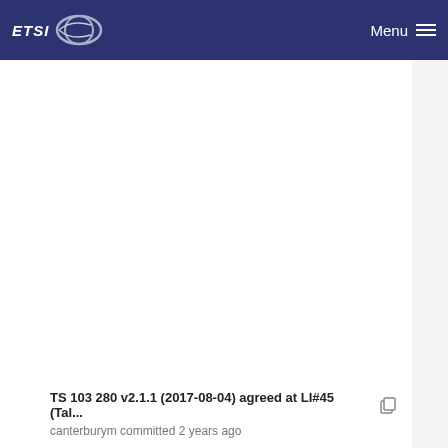ETSI Menu
TS 103 280 v2.1.1 (2017-08-04) agreed at LI#45 (Tal... canterburym committed 2 years ago
TS 103 280 v2.3.1 (2019-04-04) agreed at LI#50 (Du... canterburym committed 2 years ago